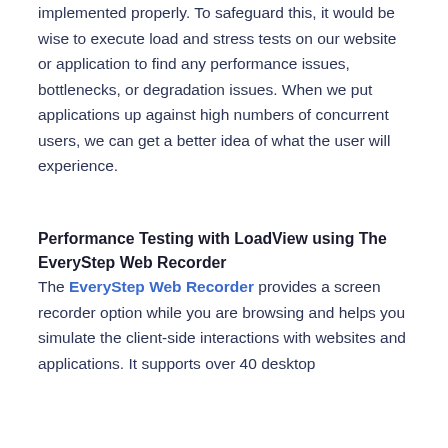implemented properly. To safeguard this, it would be wise to execute load and stress tests on our website or application to find any performance issues, bottlenecks, or degradation issues. When we put applications up against high numbers of concurrent users, we can get a better idea of what the user will experience.
Performance Testing with LoadView using The EveryStep Web Recorder
The EveryStep Web Recorder provides a screen recorder option while you are browsing and helps you simulate the client-side interactions with websites and applications. It supports over 40 desktop